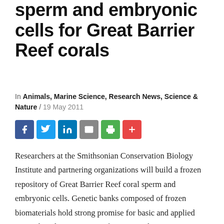sperm and embryonic cells for Great Barrier Reef corals
In Animals, Marine Science, Research News, Science & Nature / 19 May 2011
[Figure (other): Social media sharing buttons: Facebook, Twitter, LinkedIn, Email, Print, More]
Researchers at the Smithsonian Conservation Biology Institute and partnering organizations will build a frozen repository of Great Barrier Reef coral sperm and embryonic cells. Genetic banks composed of frozen biomaterials hold strong promise for basic and applied research and conservation of species and genetic variation. Because the banked cells are alive, researchers can thaw the frozen material one, 50 or, in theory, even 1,000 years from now to help restore a species or diversify a population. Done properly over time, samples of frozen